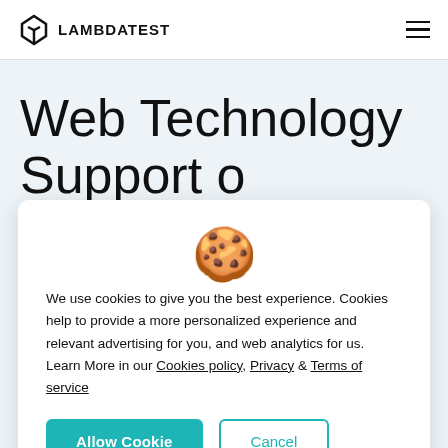LAMBDATEST
Web Technology Support on Firefox 71
[Figure (illustration): Cookie emoji icon in the cookie consent modal]
We use cookies to give you the best experience. Cookies help to provide a more personalized experience and relevant advertising for you, and web analytics for us. Learn More in our Cookies policy, Privacy & Terms of service
Allow Cookie | Cancel